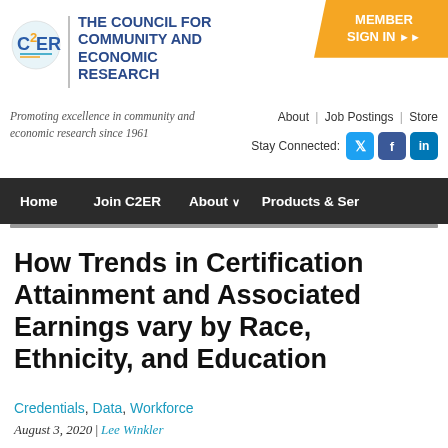[Figure (logo): C2ER logo — circular design with C, 2, E, R letters in blue and orange]
THE COUNCIL FOR COMMUNITY AND ECONOMIC RESEARCH
Promoting excellence in community and economic research since 1961
About | Job Postings | Store
Stay Connected:
Home   Join C2ER   About ∨   Products & Ser
How Trends in Certification Attainment and Associated Earnings vary by Race, Ethnicity, and Education
Credentials, Data, Workforce
August 3, 2020 | Lee Winkler